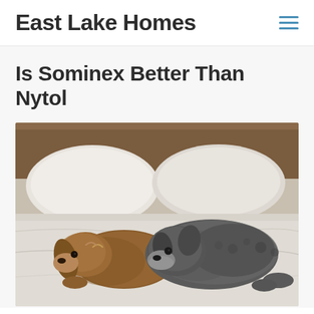East Lake Homes
Is Sominex Better Than Nytol
[Figure (photo): Two small dogs — one brown/tan and one grey/black — lying together on a white bed with a wooden headboard visible in the background]